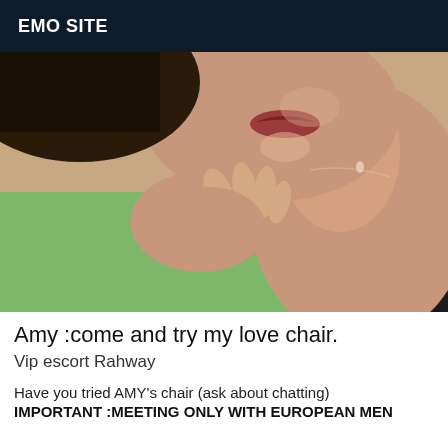EMO SITE
[Figure (photo): Close-up photo of a woman resting her chin on her hand, lying on a green surface, wearing a dark top, with skin visible.]
Amy :come and try my love chair.
Vip escort Rahway
Have you tried AMY's chair (ask about chatting)
IMPORTANT :MEETING ONLY WITH EUROPEAN MEN